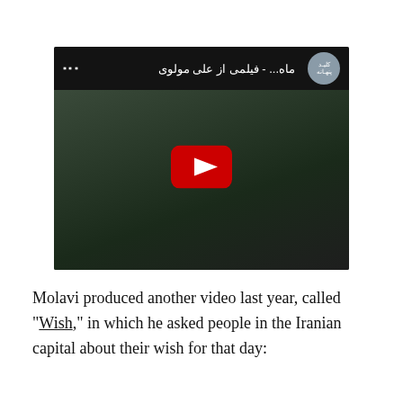[Figure (screenshot): YouTube video thumbnail showing a person in a dark hijab outdoors, with a red YouTube play button overlay. The video title bar at top shows Arabic/Persian text reading 'ماه... - فیلمی از علی مولوی' with a channel icon on the left.]
Molavi produced another video last year, called "Wish," in which he asked people in the Iranian capital about their wish for that day: